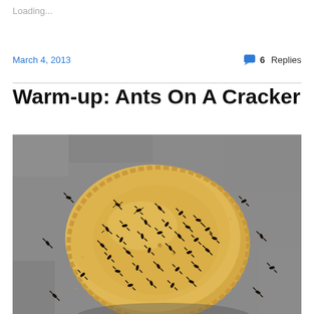Loading...
March 4, 2013
6 Replies
Warm-up: Ants On A Cracker
[Figure (photo): Close-up photo of a round cracker covered with numerous dark ants, set against a grey textured surface with more ants scattered around.]